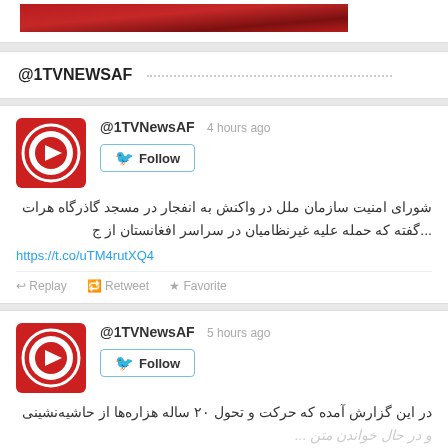[Figure (screenshot): Red banner image at top, partially shown]
@1TVNEWSAF
[Figure (screenshot): Tweet from @1TVNewsAF posted 4 hours ago with Follow button, avatar logo of 1TV (red circle with white arrow), Persian text about UN Security Council reaction to explosion at Herat mosque, link https://t.co/uTM4rutXQ4, and Replay/Retweet/Favorite actions]
[Figure (screenshot): Tweet from @1TVNewsAF posted 5 hours ago with Follow button, avatar logo of 1TV (red circle with white arrow), Persian text about movement and development of thousands of 20-year-old marginalized residents]